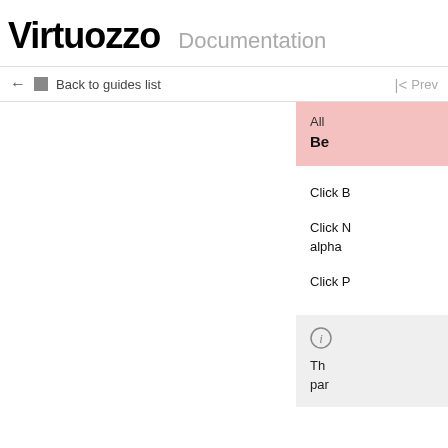Virtuozzo Documentation
← Back to guides list   |< Prev
All
Beg
Click B
Click N
alpha
Click P
The
par